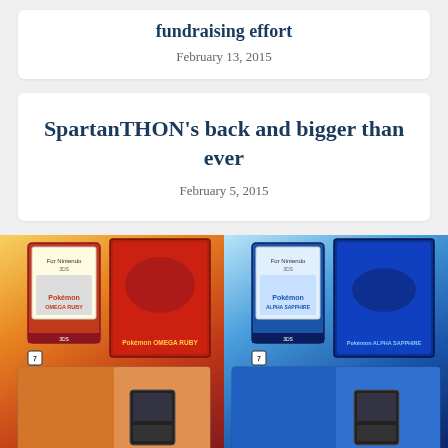fundraising effort
February 13, 2015
SpartanTHON's back and bigger than ever
February 5, 2015
[Figure (photo): Pokemon Omega Ruby and Alpha Sapphire limited edition 3DS game bundles with steelbook cases, showing both game boxes and open steelbook cases with artwork of Groudon and Kyogre respectively.]